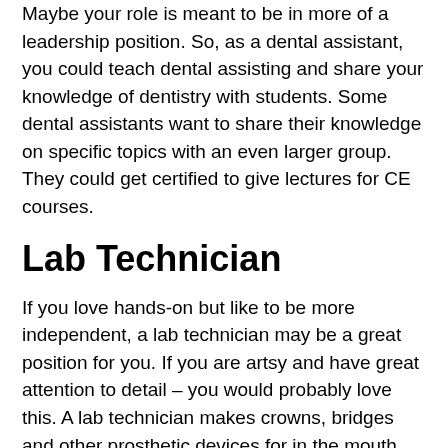Maybe your role is meant to be in more of a leadership position. So, as a dental assistant, you could teach dental assisting and share your knowledge of dentistry with students. Some dental assistants want to share their knowledge on specific topics with an even larger group. They could get certified to give lectures for CE courses.
Lab Technician
If you love hands-on but like to be more independent, a lab technician may be a great position for you. If you are artsy and have great attention to detail – you would probably love this. A lab technician makes crowns, bridges and other prosthetic devices for in the mouth. Some offices employ a lab tech and do all of their lab work in house, while others outsource their lab work. What this means is this position may not be as in demand, but you can definitely find it if you feel like it best suits you.